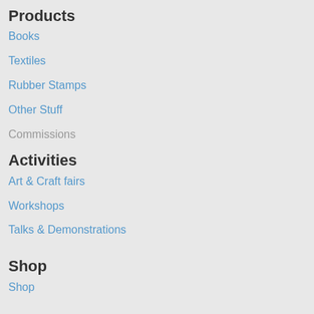Products
Books
Textiles
Rubber Stamps
Other Stuff
Commissions
Activities
Art & Craft fairs
Workshops
Talks & Demonstrations
Shop
Shop